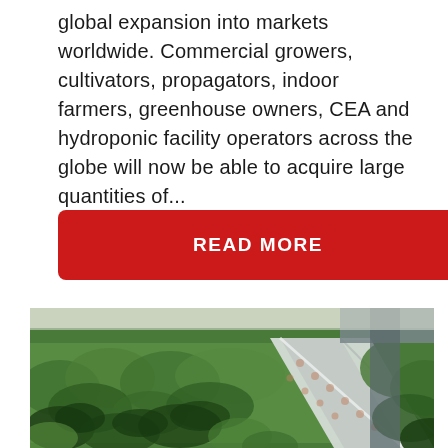global expansion into markets worldwide. Commercial growers, cultivators, propagators, indoor farmers, greenhouse owners, CEA and hydroponic facility operators across the globe will now be able to acquire large quantities of...
READ MORE
[Figure (photo): Photograph of a large indoor cannabis or hemp cultivation facility showing rows of green plants growing in white hydroponic trays, with a railed walkway running diagonally through the middle of the frame.]